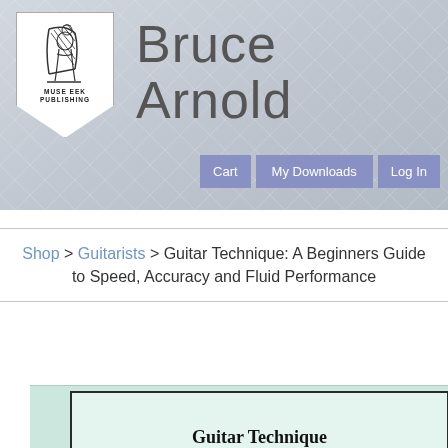[Figure (logo): Muse Eek Publishing shield logo with classical figure playing instrument]
Bruce Arnold
Cart | My Downloads | Log In
Shop > Guitarists > Guitar Technique: A Beginners Guide to Speed, Accuracy and Fluid Performance
[Figure (illustration): Book cover preview showing 'Guitar Technique' title on light green background with dark border]